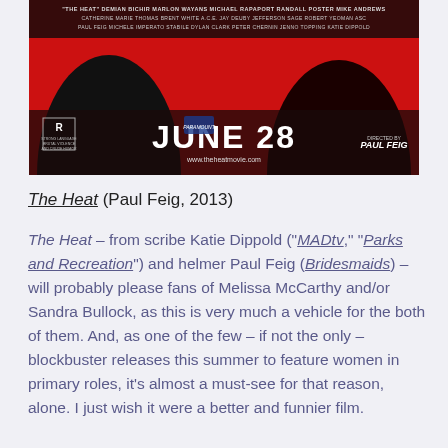[Figure (photo): Movie poster for 'The Heat' (2013) directed by Paul Feig. Red background with silhouettes of two figures. Text includes cast and crew credits, JUNE 28 release date, Rated R, www.theheatmovie.com, and Paul Feig director credit.]
The Heat (Paul Feig, 2013)
The Heat – from scribe Katie Dippold ("MADtv," "Parks and Recreation") and helmer Paul Feig (Bridesmaids) – will probably please fans of Melissa McCarthy and/or Sandra Bullock, as this is very much a vehicle for the both of them. And, as one of the few – if not the only – blockbuster releases this summer to feature women in primary roles, it's almost a must-see for that reason, alone. I just wish it were a better and funnier film.